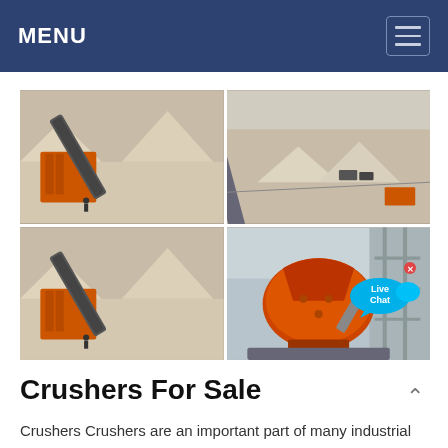MENU
[Figure (photo): Four-panel grid of industrial crusher and mining conveyor equipment photos. Top-left and bottom-left show orange conveyor belt systems at a quarry site with stockpiles. Top-right shows an aerial view of a mining site with trucks and conveyors. Bottom-right shows a large orange jaw or cone crusher machine.]
Crushers For Sale
Crushers Crushers are an important part of many industrial